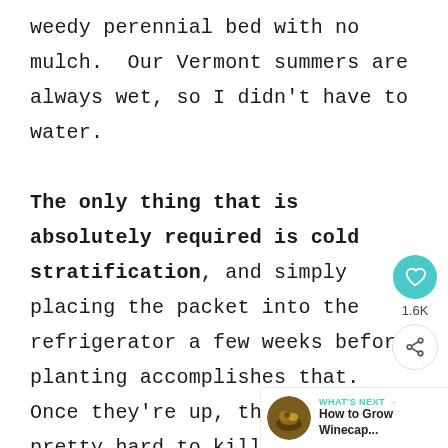weedy perennial bed with no mulch.  Our Vermont summers are always wet, so I didn't have to water.

The only thing that is absolutely required is cold stratification, and simply placing the packet into the refrigerator a few weeks before planting accomplishes that.  Once they're up, the plants are pretty hard to kill.
[Figure (infographic): Social interaction bar with heart icon showing 1.6K likes and a share button]
[Figure (infographic): What's Next card showing a thumbnail image with text 'How to Grow Winecap...']